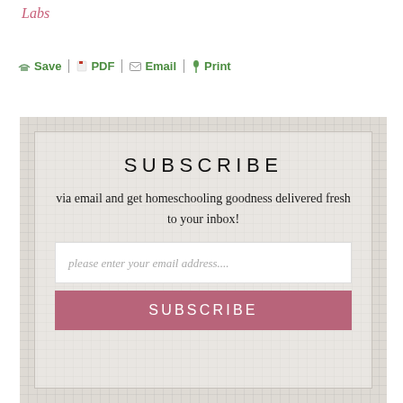Labs
Save | PDF | Email | Print
[Figure (screenshot): Subscribe widget with email input field and subscribe button on a linen-textured background. Title reads SUBSCRIBE, body text reads 'via email and get homeschooling goodness delivered fresh to your inbox!', placeholder text 'please enter your email address....', and a rose-colored SUBSCRIBE button.]